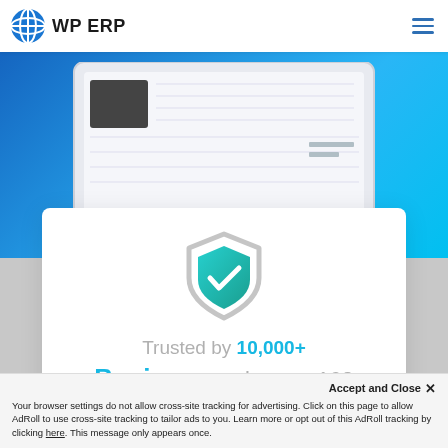[Figure (logo): WP ERP logo with globe icon and text 'WP ERP']
[Figure (screenshot): Hero section with blue gradient background and laptop mockup showing a dashboard UI]
[Figure (illustration): Shield icon with teal checkmark on white card background]
Trusted by 10,000+ Businesses in over 160
Accept and Close ✕
Your browser settings do not allow cross-site tracking for advertising. Click on this page to allow AdRoll to use cross-site tracking to tailor ads to you. Learn more or opt out of this AdRoll tracking by clicking here. This message only appears once.